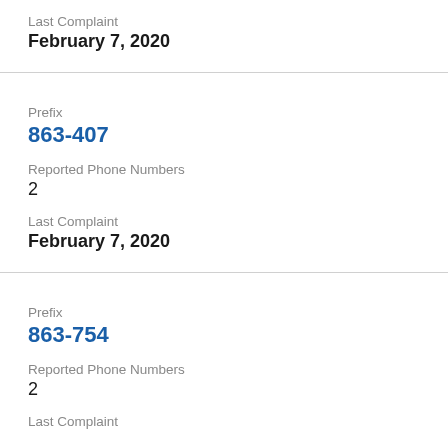Last Complaint
February 7, 2020
Prefix
863-407
Reported Phone Numbers
2
Last Complaint
February 7, 2020
Prefix
863-754
Reported Phone Numbers
2
Last Complaint